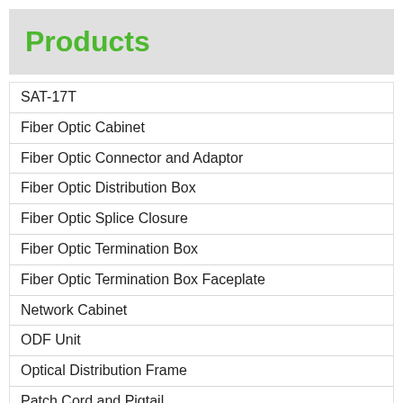Products
SAT-17T
Fiber Optic Cabinet
Fiber Optic Connector and Adaptor
Fiber Optic Distribution Box
Fiber Optic Splice Closure
Fiber Optic Termination Box
Fiber Optic Termination Box Faceplate
Network Cabinet
ODF Unit
Optical Distribution Frame
Patch Cord and Pigtail
PLC Splitter
Figure 8 Cable with Steel Tape